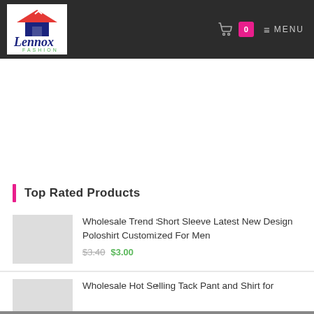Lennox Fashion — Header navigation with cart (0) and MENU
Top Rated Products
Wholesale Trend Short Sleeve Latest New Design Poloshirt Customized For Men — $3.40 $3.00
Wholesale Hot Selling Tack Pant and Shirt for Outdoor Wear